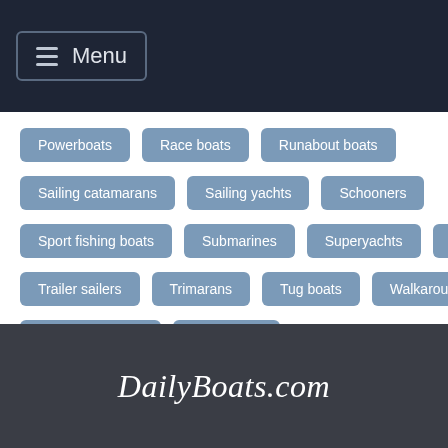Menu
Powerboats
Race boats
Runabout boats
Sailing catamarans
Sailing yachts
Schooners
Sport fishing boats
Submarines
Superyachts
Tall ships
Trailer sailers
Trimarans
Tug boats
Walkaround boats
Widebeam boats
Work boats
DailyBoats.com